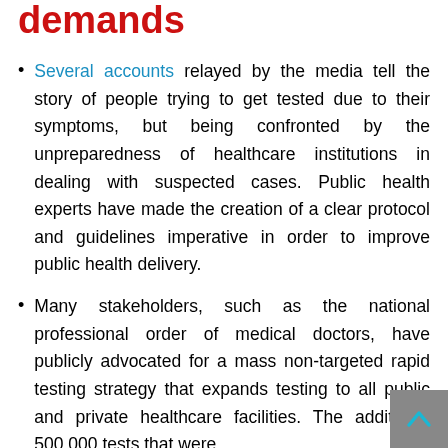demands
Several accounts relayed by the media tell the story of people trying to get tested due to their symptoms, but being confronted by the unpreparedness of healthcare institutions in dealing with suspected cases. Public health experts have made the creation of a clear protocol and guidelines imperative in order to improve public health delivery.
Many stakeholders, such as the national professional order of medical doctors, have publicly advocated for a mass non-targeted rapid testing strategy that expands testing to all public and private healthcare facilities. The additional 500,000 tests that were